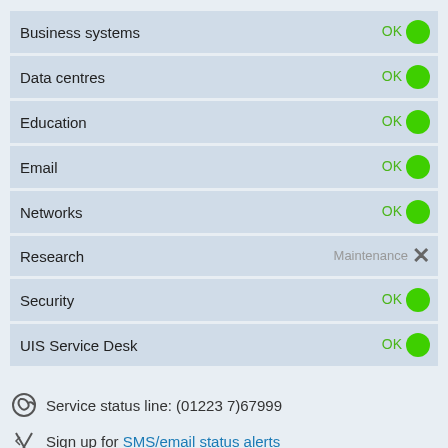| Service | Status |
| --- | --- |
| Business systems | OK |
| Data centres | OK |
| Education | OK |
| Email | OK |
| Networks | OK |
| Research | Maintenance |
| Security | OK |
| UIS Service Desk | OK |
Service status line: (01223 7)67999
Sign up for SMS/email status alerts
Read major IT incident reports